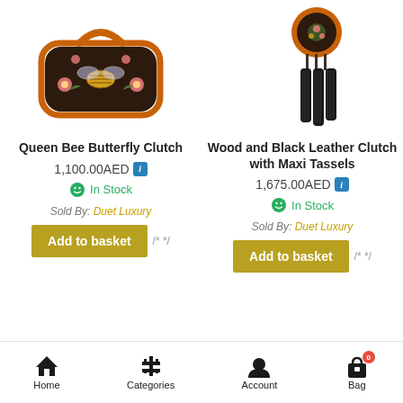[Figure (photo): Queen Bee Butterfly Clutch handbag — dark brown with orange trim, bee and floral embroidery]
[Figure (photo): Wood and Black Leather Clutch with Maxi Tassels — circular wooden top with orange rim and black leather tassels]
Queen Bee Butterfly Clutch
1,100.00AED
In Stock
Sold By: Duet Luxury
Add to basket
Wood and Black Leather Clutch with Maxi Tassels
1,675.00AED
In Stock
Sold By: Duet Luxury
Add to basket
Home  Categories  Account  Bag